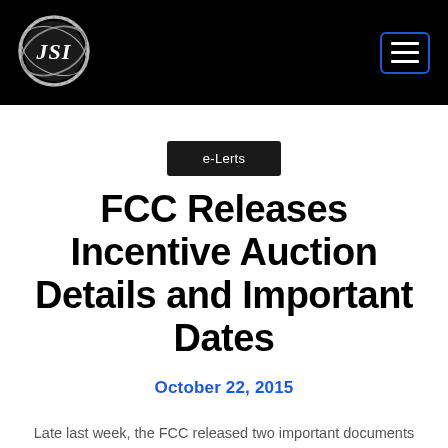[Figure (logo): JSI logo — circular silver/chrome emblem with italic 'JSI' text inside, set against a black navigation bar header]
e-Lerts
FCC Releases Incentive Auction Details and Important Dates
October 22, 2015
Late last week, the FCC released two important documents regarding the upcoming 600 MHz […]